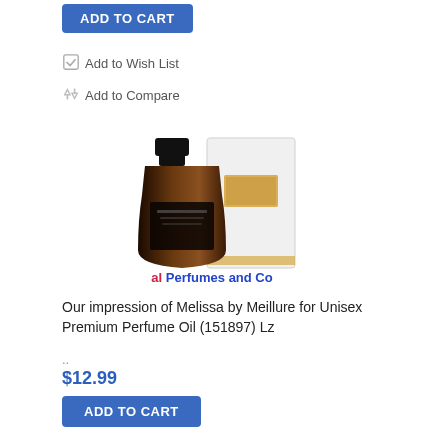ADD TO CART
Add to Wish List
Add to Compare
[Figure (photo): Perfume bottle with dark amber/brown glass and black cap next to a white rectangular box with gold label accent, watermarked with 'al Perfumes and Co']
Our impression of Melissa by Meillure for Unisex Premium Perfume Oil (151897) Lz
..
$12.99
ADD TO CART
Add to Wish List
Add to Compare